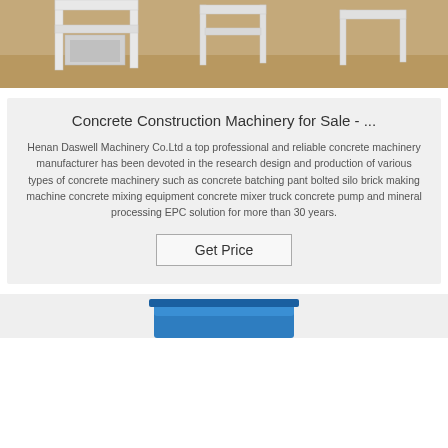[Figure (photo): Partial view of white concrete construction machinery on sandy/dirt ground surface]
Concrete Construction Machinery for Sale - ...
Henan Daswell Machinery Co.Ltd a top professional and reliable concrete machinery manufacturer has been devoted in the research design and production of various types of concrete machinery such as concrete batching pant bolted silo brick making machine concrete mixing equipment concrete mixer truck concrete pump and mineral processing EPC solution for more than 30 years.
Get Price
[Figure (photo): Bottom portion of blue industrial container or bin visible at bottom of page]